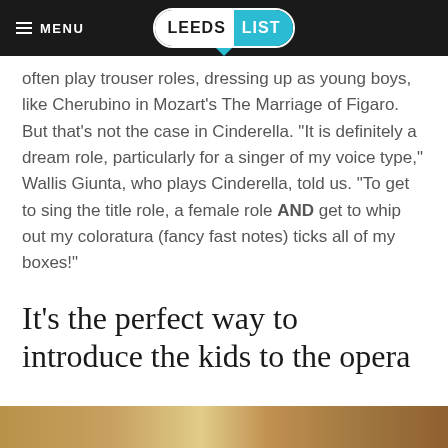MENU  LEEDS LIST
often play trouser roles, dressing up as young boys, like Cherubino in Mozart’s The Marriage of Figaro. But that’s not the case in Cinderella. “It is definitely a dream role, particularly for a singer of my voice type,” Wallis Giunta, who plays Cinderella, told us. “To get to sing the title role, a female role AND get to whip out my coloratura (fancy fast notes) ticks all of my boxes!”
It’s the perfect way to introduce the kids to the opera
[Figure (photo): Partial image strip at bottom of page showing a warm-toned scene]